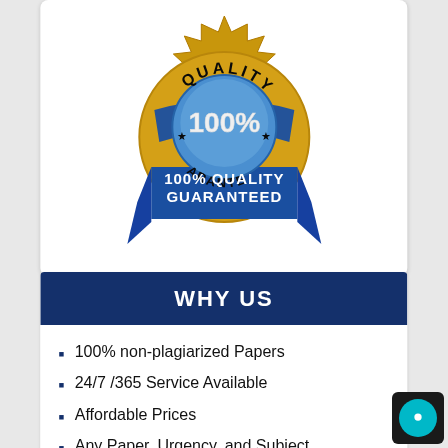[Figure (illustration): Gold and blue quality seal badge with text '100% QUALITY GUARANTEED' and '100%' in the center]
WHY US
100% non-plagiarized Papers
24/7 /365 Service Available
Affordable Prices
Any Paper, Urgency, and Subject
On time Delivery